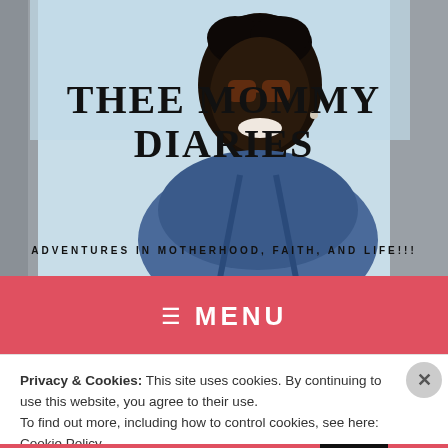[Figure (photo): Background photo of a smiling woman with short natural hair and glasses, wearing a denim jacket, leaning against a stone wall outdoors.]
THEE MOMMY DIARIES
ADVENTURES IN MOTHERHOOD, FAITH, AND LIFE!!!
≡  MENU
Privacy & Cookies: This site uses cookies. By continuing to use this website, you agree to their use.
To find out more, including how to control cookies, see here: Cookie Policy
Close and accept